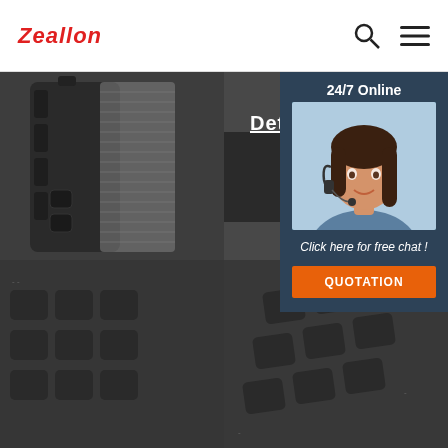Zeallon
[Figure (photo): Product image grid showing close-up views of a rugged portable Bluetooth speaker with textured rubber casing and mesh grille, from multiple angles. A customer service chat popup overlay appears in the top-right corner.]
Detai
24/7 Online
Click here for free chat !
QUOTATION